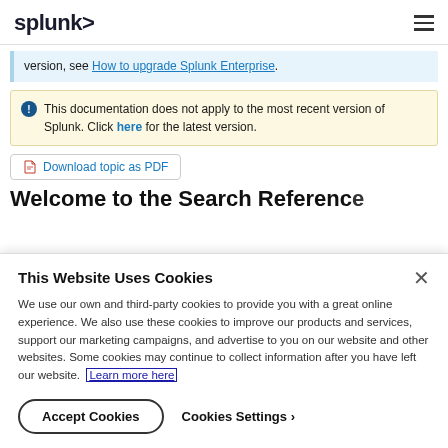splunk>
version, see How to upgrade Splunk Enterprise.
This documentation does not apply to the most recent version of Splunk. Click here for the latest version.
Download topic as PDF
Welcome to the Search Reference
This Website Uses Cookies
We use our own and third-party cookies to provide you with a great online experience. We also use these cookies to improve our products and services, support our marketing campaigns, and advertise to you on our website and other websites. Some cookies may continue to collect information after you have left our website. Learn more here
Accept Cookies    Cookies Settings ›